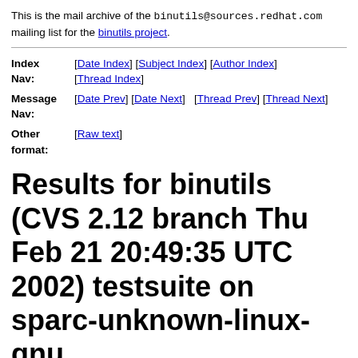This is the mail archive of the binutils@sources.redhat.com mailing list for the binutils project.
| Index Nav: | [Date Index] [Subject Index] [Author Index] [Thread Index] |
| Message Nav: | [Date Prev] [Date Next]  [Thread Prev] [Thread Next] |
| Other format: | [Raw text] |
Results for binutils (CVS 2.12 branch Thu Feb 21 20:49:35 UTC 2002) testsuite on sparc-unknown-linux-gnu
From: Christian Jönsson <chj at j-son dot org>
To: binutils at sources dot redhat dot com
Date: Fri, 22 Feb 2002 10:25:28 +0100